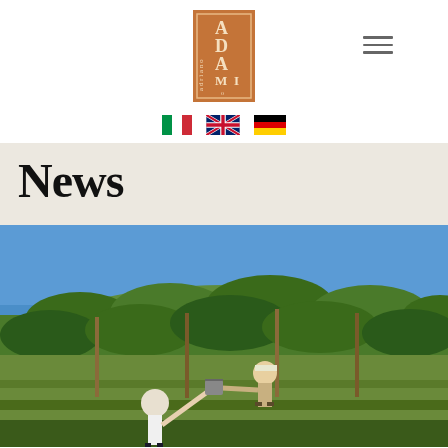[Figure (logo): Adriano Adami winery logo — orange/brown rectangle with serif lettering 'adriano ADAMI' arranged vertically]
[Figure (infographic): Three country flag icons for language selection: Italian flag, UK flag, German flag]
News
[Figure (photo): Photograph of vineyard workers on a steep hillside, passing a bucket between them. Green vines, blue sky, grassy slope.]